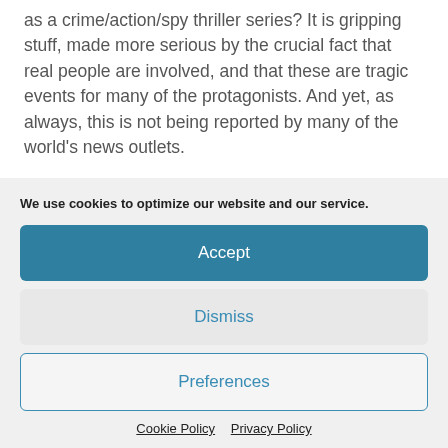as a crime/action/spy thriller series? It is gripping stuff, made more serious by the crucial fact that real people are involved, and that these are tragic events for many of the protagonists. And yet, as always, this is not being reported by many of the world's news outlets.
We use cookies to optimize our website and our service.
Accept
Dismiss
Preferences
Cookie Policy   Privacy Policy